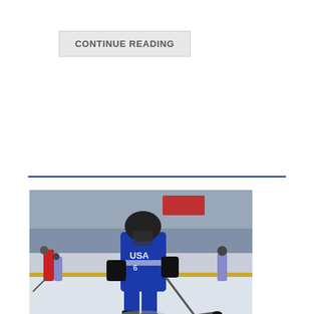CONTINUE READING
[Figure (photo): Hockey player in blue USA jersey and black helmet skating on an ice rink during a game, with other players visible in the background]
NTDP Evaluation Camp Report
Posted on March 29, 2018